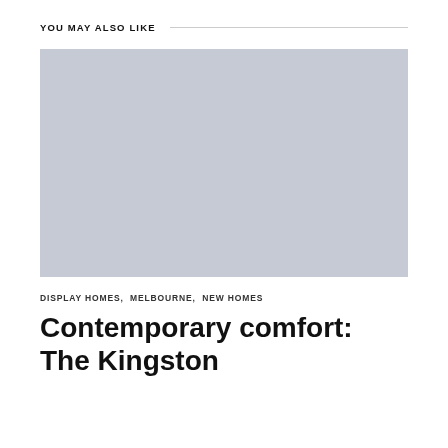YOU MAY ALSO LIKE
[Figure (photo): Placeholder image with light blue-grey background representing a home interior or exterior photo]
DISPLAY HOMES,  MELBOURNE,  NEW HOMES
Contemporary comfort: The Kingston